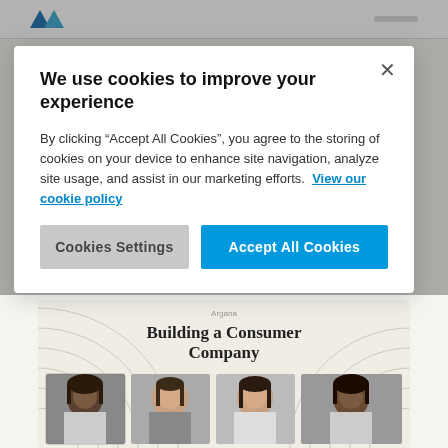We use cookies to improve your experience
By clicking “Accept All Cookies”, you agree to the storing of cookies on your device to enhance site navigation, analyze site usage, and assist in our marketing efforts.  View our cookie policy
Cookies Settings
Accept All Cookies
[Figure (screenshot): Background webpage showing 'Building a Consumer Company' heading with four black and white portrait photos of women below it, on a beige/cream colored background with decorative arc patterns.]